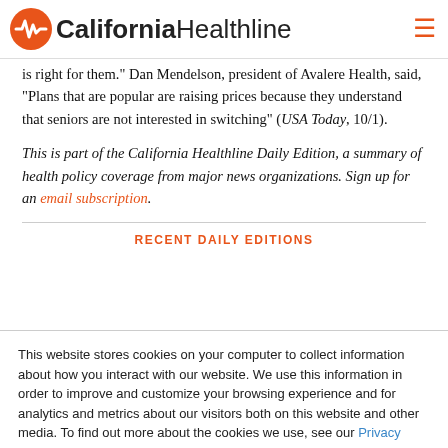California Healthline
is right for them." Dan Mendelson, president of Avalere Health, said, "Plans that are popular are raising prices because they understand that seniors are not interested in switching" (USA Today, 10/1).
This is part of the California Healthline Daily Edition, a summary of health policy coverage from major news organizations. Sign up for an email subscription.
RECENT DAILY EDITIONS
This website stores cookies on your computer to collect information about how you interact with our website. We use this information in order to improve and customize your browsing experience and for analytics and metrics about our visitors both on this website and other media. To find out more about the cookies we use, see our Privacy Policy.
Accept